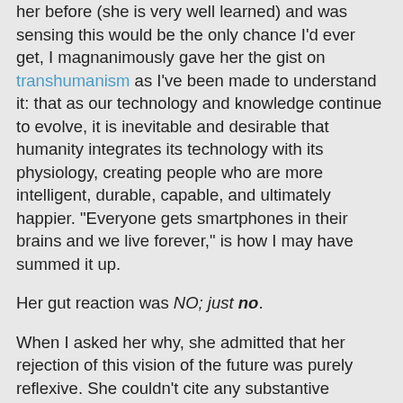her before (she is very well learned) and was sensing this would be the only chance I'd ever get, I magnanimously gave her the gist on transhumanism as I've been made to understand it: that as our technology and knowledge continue to evolve, it is inevitable and desirable that humanity integrates its technology with its physiology, creating people who are more intelligent, durable, capable, and ultimately happier. "Everyone gets smartphones in their brains and we live forever," is how I may have summed it up.
Her gut reaction was NO; just no.
When I asked her why, she admitted that her rejection of this vision of the future was purely reflexive. She couldn't cite any substantive reasons -- ethical spiritual, or otherwise -- as to why she found the idea so appalling. (Granted, she'd had only twenty seconds to think it over.)
When we find ourselves upset by some argument or new idea, it's helpful to ask why instead of just leaving it at fuck that. Once we've gone beyond an emotional reaction and can put it in context, we can respond to the argument with